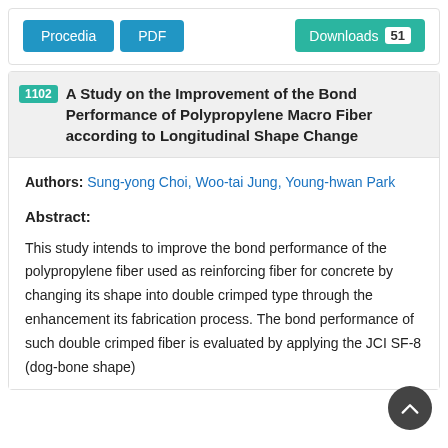[Figure (other): Top bar with Procedia and PDF buttons on the left, and a Downloads 51 button on the right]
1102 A Study on the Improvement of the Bond Performance of Polypropylene Macro Fiber according to Longitudinal Shape Change
Authors: Sung-yong Choi, Woo-tai Jung, Young-hwan Park
Abstract:
This study intends to improve the bond performance of the polypropylene fiber used as reinforcing fiber for concrete by changing its shape into double crimped type through the enhancement its fabrication process. The bond performance of such double crimped fiber is evaluated by applying the JCI SF-8 (dog-bone shape)